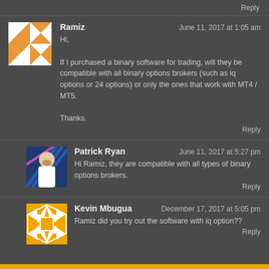Reply
[Figure (illustration): Avatar for Ramiz - orange and white geometric quilt pattern]
Ramiz  June 11, 2017 at 1:05 am
Hi,
If I purchased a binary software for trading, will they be compatible with all binary options brokers (such as iq options or 24 options) or only the ones that work with MT4 / MT5.
Thanks.
Reply
[Figure (photo): Profile photo of Patrick Ryan - man with mouth open, blue geometric background]
Patrick Ryan  June 11, 2017 at 5:27 pm
Hi Ramiz, they are compatible with all types of binary options brokers.
Reply
[Figure (illustration): Avatar for Kevin Mbugua - gold and white geometric pattern]
Kevin Mbugua  December 17, 2017 at 5:05 pm
Ramiz did you try out the software with iq option??
Reply